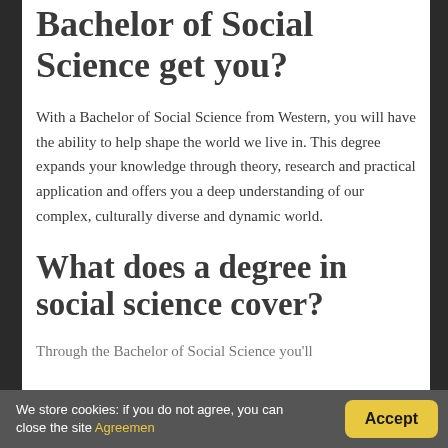Bachelor of Social Science get you?
With a Bachelor of Social Science from Western, you will have the ability to help shape the world we live in. This degree expands your knowledge through theory, research and practical application and offers you a deep understanding of our complex, culturally diverse and dynamic world.
What does a degree in social science cover?
Through the Bachelor of Social Science you'll
We store cookies: if you do not agree, you can close the site Agreemen